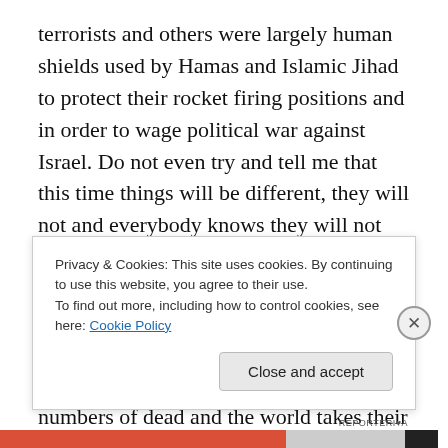terrorists and others were largely human shields used by Hamas and Islamic Jihad to protect their rocket firing positions and in order to wage political war against Israel. Do not even try and tell me that this time things will be different, they will not and everybody knows they will not except this time there will be massive Israelis killed as well which at least will remove the disproportional force dialogue, but that claim will continue as the Palestinian Authority releases inflated numbers of dead and the world takes their numbers at face value while questioning any numbers released by Israel. Oh, and when the
Privacy & Cookies: This site uses cookies. By continuing to use this website, you agree to their use.
To find out more, including how to control cookies, see here: Cookie Policy
Close and accept